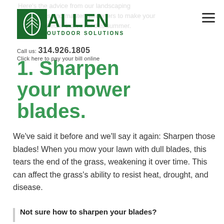Here's the advice from our landscaping technicians and master gardeners to make your lawn look better than ever this summer.
[Figure (logo): Allen Outdoor Solutions logo with green leaf icon and company name in green text]
Call us: 314.926.1805
Click here to pay your bill online
1. Sharpen your mower blades.
We've said it before and we'll say it again: Sharpen those blades! When you mow your lawn with dull blades, this tears the end of the grass, weakening it over time. This can affect the grass's ability to resist heat, drought, and disease.
Not sure how to sharpen your blades?